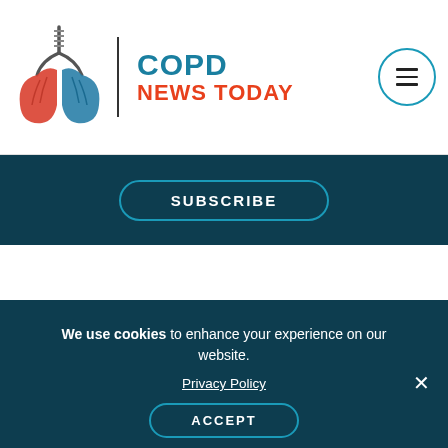COPD NEWS TODAY
SUBSCRIBE
We use cookies to enhance your experience on our website. Privacy Policy ACCEPT